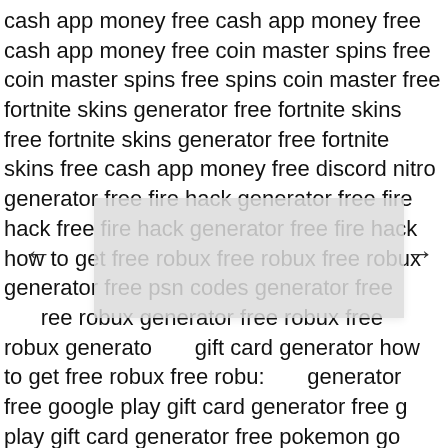cash app money free cash app money free cash app money free coin master spins free coin master spins free spins coin master free fortnite skins generator free fortnite skins free fortnite skins generator free fortnite skins free cash app money free discord nitro generator free fire hack generator free fire hack free fire hack generator free fire hack how to get free robux free robux free robux generator free psn codes generator free robux generator free robux free robux generator gift card generator how to get free robux free robux generator free google play gift card generator free google play gift card generator free pokemon go spoofer free tiktok followers free v bucks free v bucks generator free xbox gift card generator free cash app money source free cash app money free cash app money free coin master spins free coin master spins free spins coin master free fortnite skins generator free fortnite skins free fortnite skins generator free fortnite skins free cash app money free discord nitro generator free fire hack generator free fire hack free fire hack generator free fire hack
[Figure (other): Navigation overlay with left and right arrow buttons and a grey semi-transparent box overlaying a portion of the text]